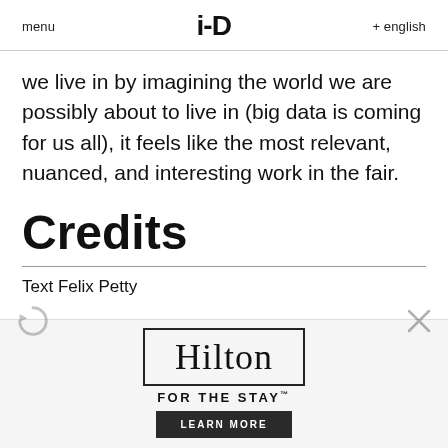menu  i-D  + english
we live in by imagining the world we are possibly about to live in (big data is coming for us all), it feels like the most relevant, nuanced, and interesting work in the fair.
Credits
Text Felix Petty
[Figure (other): Hilton advertisement banner with logo, tagline 'FOR THE STAY' and 'LEARN MORE' button]